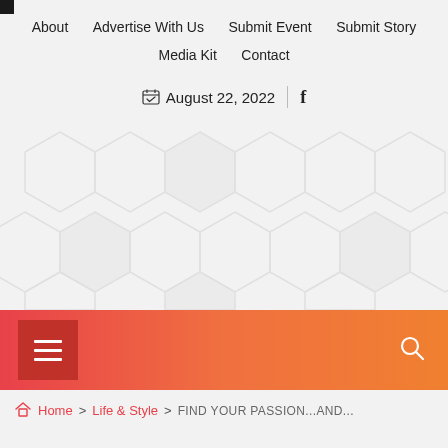About   Advertise With Us   Submit Event   Submit Story   Media Kit   Contact
📅 August 22, 2022  |  f
[Figure (other): Decorative hexagon pattern banner in light gray/white tones]
[Figure (other): Navigation bar with red/orange gradient, hamburger menu button on left and search icon on right]
🏠 Home > Life & Style > FIND YOUR PASSION...AND...